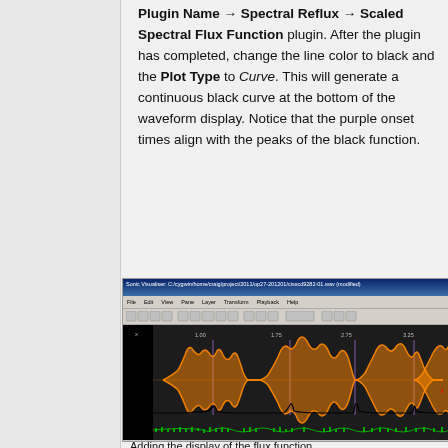Plugin Name → Spectral Reflux → Scaled Spectral Flux Function plugin. After the plugin has completed, change the line color to black and the Plot Type to Curve. This will generate a continuous black curve at the bottom of the waveform display. Notice that the purple onset times align with the peaks of the black function.
[Figure (screenshot): Sonic Visualiser screenshot showing an audio waveform (orange) with purple vertical onset markers and a black spectral flux curve at the bottom. The waveform shows multiple note onsets. A green waveform overview is shown at the very bottom.]
Adding the display of the flux function.